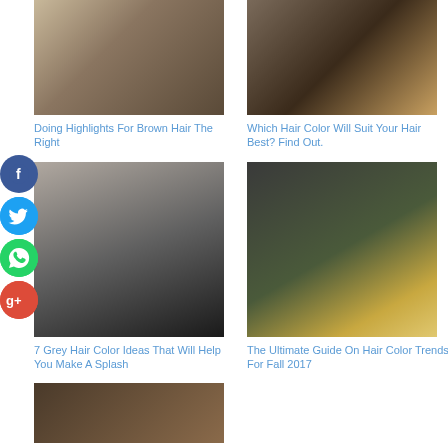[Figure (photo): Photo of brown highlighted hair, person from behind]
[Figure (photo): Mirror selfie showing hair color]
Doing Highlights For Brown Hair The Right
Which Hair Color Will Suit Your Hair Best? Find Out.
[Figure (other): Social media buttons: Facebook, Twitter, WhatsApp, Google+]
[Figure (photo): 7 Grey Hair Color Ideas - woman with grey curly hair and glasses]
[Figure (photo): Ultimate Guide On Hair Color Trends For Fall 2017 - blonde woman in black outfit]
7 Grey Hair Color Ideas That Will Help You Make A Splash
The Ultimate Guide On Hair Color Trends For Fall 2017
[Figure (photo): Partial bottom image of hair style]